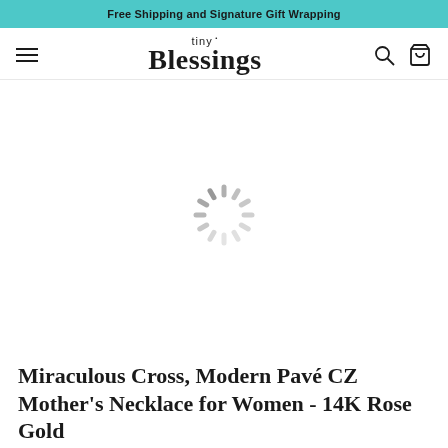Free Shipping and Signature Gift Wrapping
[Figure (logo): tiny Blessings logo with serif Blessings wordmark]
[Figure (screenshot): Loading spinner (animated radial spokes in gray) indicating product image is loading]
Miraculous Cross, Modern Pavé CZ Mother's Necklace for Women - 14K Rose Gold